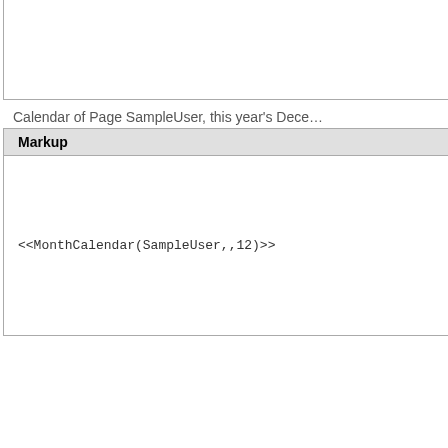| 22 | 23 | 24 |
| 29 | 30 | 31 |
Calendar of Page SampleUser, this year's December
| Markup | Result |
| --- | --- |
| <<MonthCalendar(SampleUser,,12)>> | [calendar widget showing December with dates 5,6,7... 12,13,14... 19,20,21... 26,27,28...] |
Calendar of current Page, this year's December
| Markup | Result |
| --- | --- |
| <<MonthCalendar(,,12)>> | [calendar widget showing December with dates 1... 6,7,8... 13,14,15... 20,21,22...] |